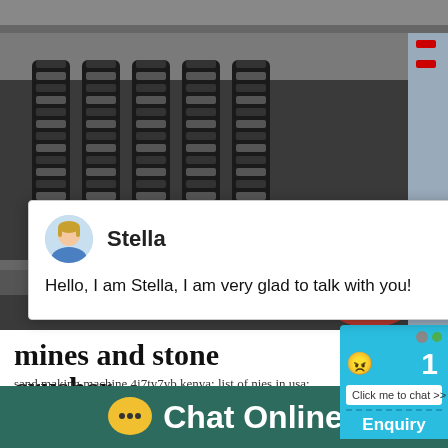[Figure (photo): Close-up photo of industrial stone crusher/cone crusher machinery showing black coil springs, metal housing components, and a red rubber disc element with metal fasteners.]
[Figure (screenshot): Chat popup overlay with avatar of Stella (female customer service agent icon), name 'Stella', close button X, and message: Hello, I am Stella, I am very glad to talk with you!]
[Figure (screenshot): Live chat widget on the right side showing teal/blue background, smiley face icon, number 1 badge, 'Click me to chat >>' button, and 'Enquiry' label. Also shows widget dots/balls.]
mines and stone crusher
sand making machine 4j7ty7yb kenya; list of nies in usa; cone crushers portable; hight cap
[Figure (infographic): Bottom bar with dark teal background showing a yellow speech bubble chat icon with three dots and text 'Chat Online' in white.]